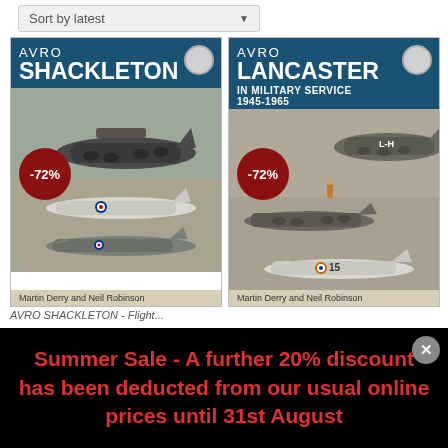Sort by latest
[Figure (illustration): Book cover: AVRO SHACKLETON by Martin Derry and Neil Robinson, showing military aircraft illustrations, with -72% discount badge]
[Figure (illustration): Book cover: AVRO LANCASTER IN MILITARY SERVICE 1945-1965 by Martin Derry and Neil Robinson, showing military aircraft photographs, with -72% discount badge]
AVRO SHACKLETON - Flight...
Summer Sale - A further 20% discount has been deducted from our usual online prices until 31st August